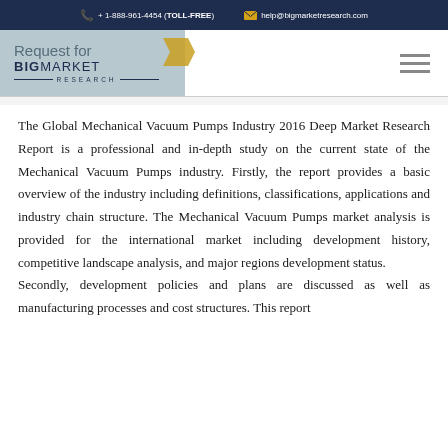+ 1-888-961-4454 (TOLL-FREE)   help@bigmarketresearch.com
[Figure (logo): Big Market Research logo with 'Request for' text above, gold arrow graphic, and hamburger menu icon on the right]
The Global Mechanical Vacuum Pumps Industry 2016 Deep Market Research Report is a professional and in-depth study on the current state of the Mechanical Vacuum Pumps industry. Firstly, the report provides a basic overview of the industry including definitions, classifications, applications and industry chain structure. The Mechanical Vacuum Pumps market analysis is provided for the international market including development history, competitive landscape analysis, and major regions development status.
Secondly, development policies and plans are discussed as well as manufacturing processes and cost structures. This report